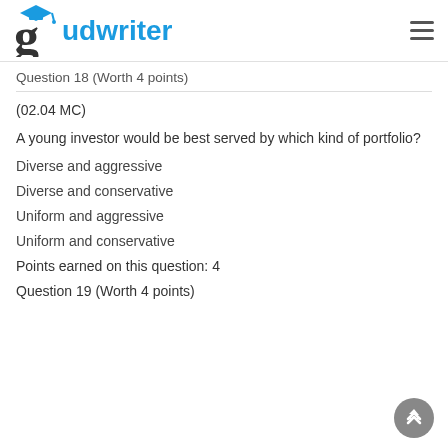gudwriter
Question 18 (Worth 4 points)
(02.04 MC)
A young investor would be best served by which kind of portfolio?
Diverse and aggressive
Diverse and conservative
Uniform and aggressive
Uniform and conservative
Points earned on this question: 4
Question 19 (Worth 4 points)